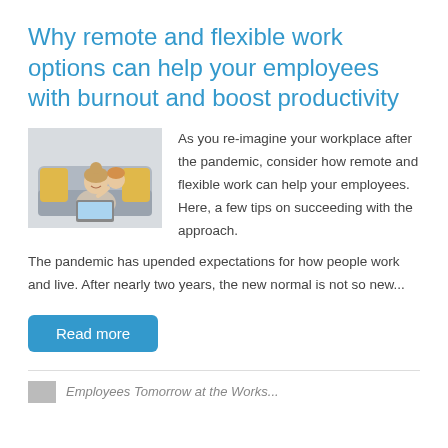Why remote and flexible work options can help your employees with burnout and boost productivity
[Figure (photo): A woman smiling while sitting on a couch working on a laptop, with a child hugging her from behind]
As you re-imagine your workplace after the pandemic, consider how remote and flexible work can help your employees. Here, a few tips on succeeding with the approach.
The pandemic has upended expectations for how people work and live. After nearly two years, the new normal is not so new...